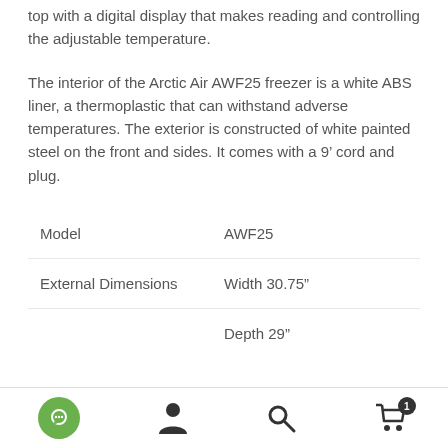top with a digital display that makes reading and controlling the adjustable temperature.
The interior of the Arctic Air AWF25 freezer is a white ABS liner, a thermoplastic that can withstand adverse temperatures. The exterior is constructed of white painted steel on the front and sides. It comes with a 9' cord and plug.
| Model | AWF25 |
| External Dimensions | Width 30.75” |
|  | Depth 29” |
[Figure (infographic): Bottom navigation bar with four icons: green chat bubble circle, person/account icon, search magnifying glass icon, and shopping cart icon with badge showing '1'.]